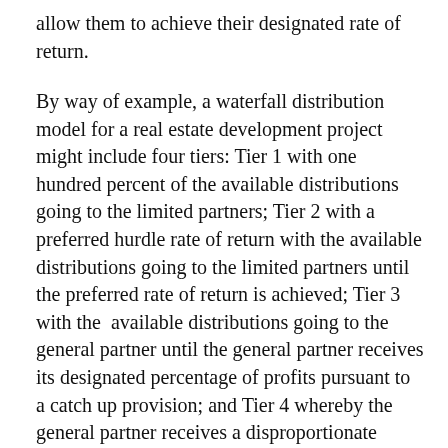allow them to achieve their designated rate of return.
By way of example, a waterfall distribution model for a real estate development project might include four tiers: Tier 1 with one hundred percent of the available distributions going to the limited partners; Tier 2 with a preferred hurdle rate of return with the available distributions going to the limited partners until the preferred rate of return is achieved; Tier 3 with the available distributions going to the general partner until the general partner receives its designated percentage of profits pursuant to a catch up provision; and Tier 4 whereby the general partner receives a disproportionate share of the profits if the investment performs better than expected pursuant to a look back provision.